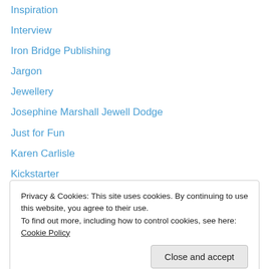Inspiration
Interview
Iron Bridge Publishing
Jargon
Jewellery
Josephine Marshall Jewell Dodge
Just for Fun
Karen Carlisle
Kickstarter
Kintsukuroi
Language
Libraries
Linguistics
Love of words
Privacy & Cookies: This site uses cookies. By continuing to use this website, you agree to their use.
To find out more, including how to control cookies, see here: Cookie Policy
Motivation